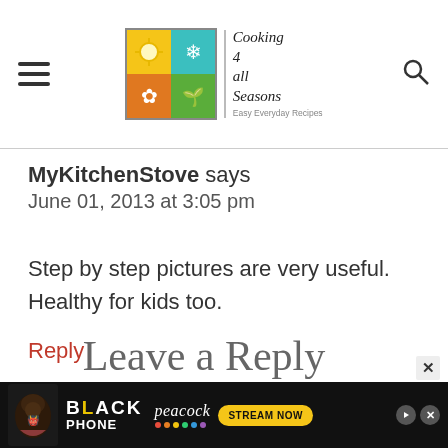Cooking 4 all Seasons — Easy Everyday Recipes
MyKitchenStove says
June 01, 2013 at 3:05 pm
Step by step pictures are very useful. Healthy for kids too.
Reply
Leave a Reply
[Figure (advertisement): The Black Phone — peacock STREAM NOW advertisement banner]